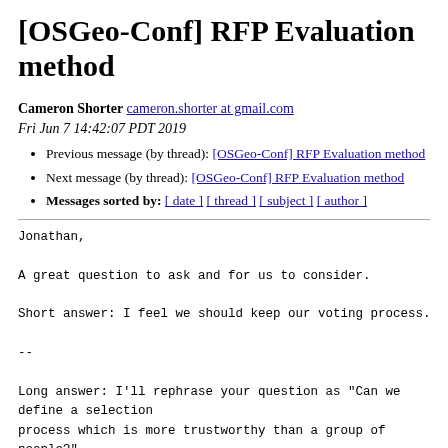[OSGeo-Conf] RFP Evaluation method
Cameron Shorter cameron.shorter at gmail.com
Fri Jun 7 14:42:07 PDT 2019
Previous message (by thread): [OSGeo-Conf] RFP Evaluation method
Next message (by thread): [OSGeo-Conf] RFP Evaluation method
Messages sorted by: [ date ] [ thread ] [ subject ] [ author ]
Jonathan,

A great question to ask and for us to consider.

Short answer: I feel we should keep our voting process.

--

Long answer: I'll rephrase your question as "Can we define a selection
process which is more trustworthy than a group of
people?"